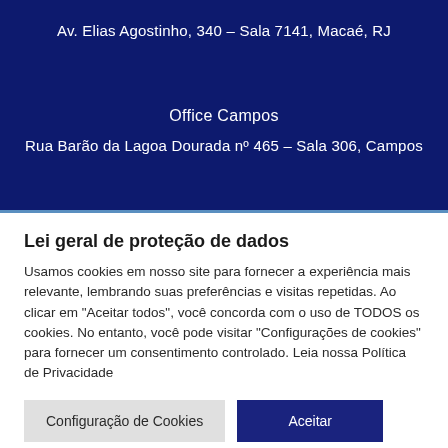Av. Elias Agostinho, 340 – Sala 7141, Macaé, RJ
Office Campos
Rua Barão da Lagoa Dourada nº 465 – Sala 306, Campos
Lei geral de proteção de dados
Usamos cookies em nosso site para fornecer a experiência mais relevante, lembrando suas preferências e visitas repetidas. Ao clicar em "Aceitar todos", você concorda com o uso de TODOS os cookies. No entanto, você pode visitar "Configurações de cookies" para fornecer um consentimento controlado. Leia nossa Política de Privacidade
Configuração de Cookies
Aceitar